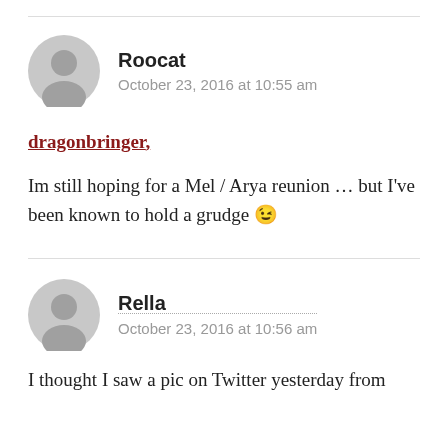Roocat
October 23, 2016 at 10:55 am
dragonbringer,
Im still hoping for a Mel / Arya reunion ... but I've been known to hold a grudge 😉
Rella
October 23, 2016 at 10:56 am
I thought I saw a pic on Twitter yesterday from